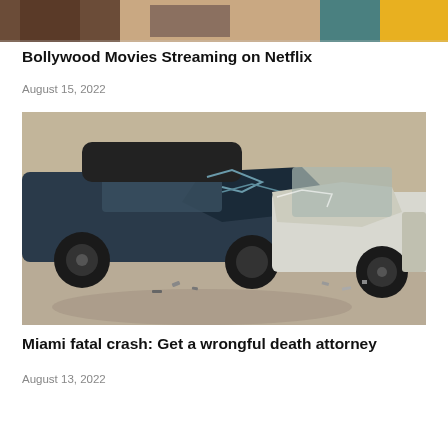[Figure (photo): Partial top strip of a colorful image with people, likely a Bollywood movie scene with bright colors and figures]
Bollywood Movies Streaming on Netflix
August 15, 2022
[Figure (photo): Two severely damaged cars after a head-on collision on a road, both vehicles heavily wrecked at the front]
Miami fatal crash: Get a wrongful death attorney
August 13, 2022